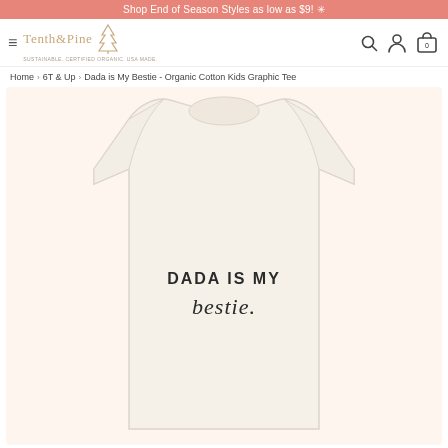Shop End of Season Styles as low as $9! ✳
[Figure (logo): Tenth & Pine logo with mountain/pine tree icon. Tagline: SUSTAINABLE. CERTIFIED ORGANIC. USA MADE.]
Home > 6T & Up > Dada is My Bestie - Organic Cotton Kids Graphic Tee
[Figure (photo): Cream/off-white kids graphic tee displayed flat on light peachy background. The shirt has text printed on the chest: 'DADA IS MY' in small sans-serif uppercase, and 'bestie.' in cursive/script style below.]